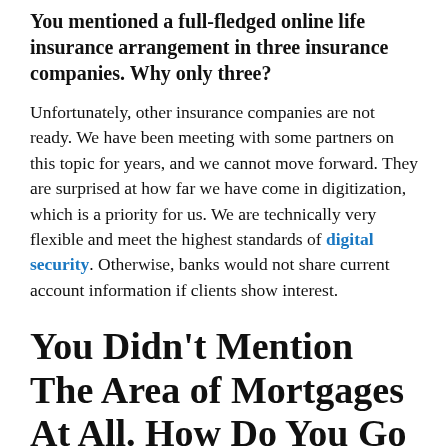You mentioned a full-fledged online life insurance arrangement in three insurance companies. Why only three?
Unfortunately, other insurance companies are not ready. We have been meeting with some partners on this topic for years, and we cannot move forward. They are surprised at how far we have come in digitization, which is a priority for us. We are technically very flexible and meet the highest standards of digital security. Otherwise, banks would not share current account information if clients show interest.
You Didn’t Mention The Area of Mortgages At All. How Do You Go In